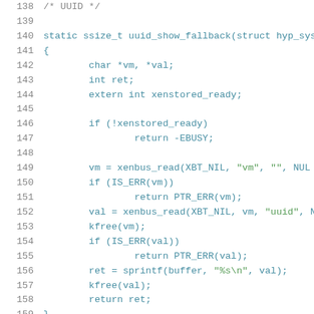/* UUID */

static ssize_t uuid_show_fallback(struct hyp_sys
{
        char *vm, *val;
        int ret;
        extern int xenstored_ready;

        if (!xenstored_ready)
                return -EBUSY;

        vm = xenbus_read(XBT_NIL, "vm", "", NUL
        if (IS_ERR(vm))
                return PTR_ERR(vm);
        val = xenbus_read(XBT_NIL, vm, "uuid", N
        kfree(vm);
        if (IS_ERR(val))
                return PTR_ERR(val);
        ret = sprintf(buffer, "%s\n", val);
        kfree(val);
        return ret;
}